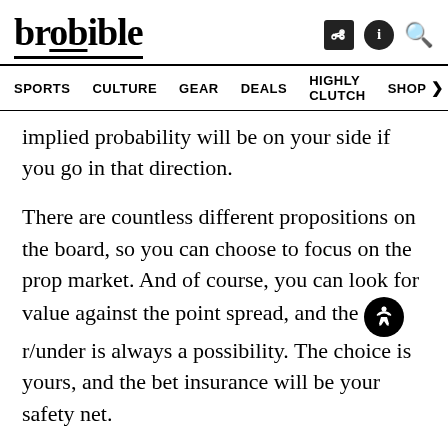brobible
SPORTS   CULTURE   GEAR   DEALS   HIGHLY CLUTCH   SHOP >
implied probability will be on your side if you go in that direction.
There are countless different propositions on the board, so you can choose to focus on the prop market. And of course, you can look for value against the point spread, and the o/under is always a possibility. The choice is yours, and the bet insurance will be your safety net.